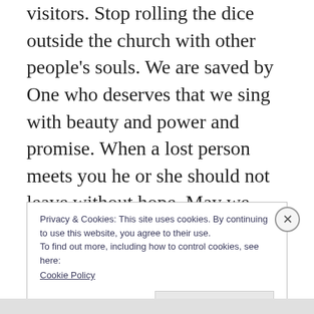visitors. Stop rolling the dice outside the church with other people's souls. We are saved by One who deserves that we sing with beauty and power and promise. When a lost person meets you he or she should not leave without hope. May we always be ready to share the only name given among men by which we might be saved: The Name of Jesus.
Privacy & Cookies: This site uses cookies. By continuing to use this website, you agree to their use.
To find out more, including how to control cookies, see here:
Cookie Policy
Close and accept